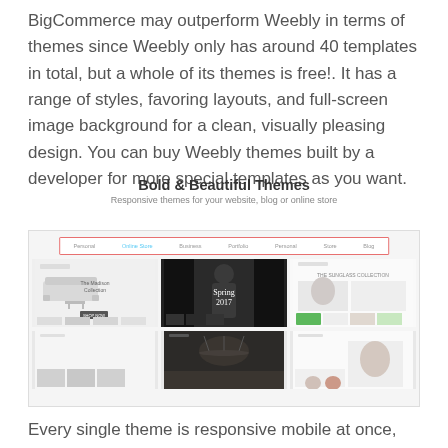BigCommerce may outperform Weebly in terms of themes since Weebly only has around 40 templates in total, but a whole of its themes is free!. It has a range of styles, favoring layouts, and full-screen image background for a clean, visually pleasing design. You can buy Weebly themes built by a developer for more special templates as you want.
[Figure (screenshot): Screenshot of Weebly theme store showing 'Bold & Beautiful Themes' heading, navigation bar with categories (Personal, Online Store, Business, Portfolio, Personal, Store, Blog) highlighted with red border, and a grid of website theme previews including a furniture/home decor theme, a fashion theme with 'Spring 2017' text, and an accessories theme.]
Every single theme is responsive mobile at once,